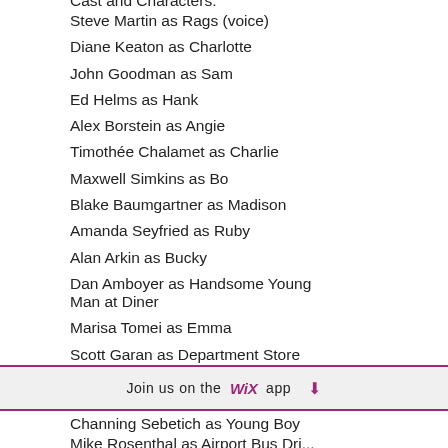Steve Martin as Rags (voice)
Diane Keaton as Charlotte
John Goodman as Sam
Ed Helms as Hank
Alex Borstein as Angie
Timothée Chalamet as Charlie
Maxwell Simkins as Bo
Blake Baumgartner as Madison
Amanda Seyfried as Ruby
Alan Arkin as Bucky
Dan Amboyer as Handsome Young Man at Diner
Marisa Tomei as Emma
Scott Garan as Department Store Security Guard
Join us on the WiX app ⬇
Channing Sebetich as Young Boy
Mike Rosenthal as Airport Bus Driver